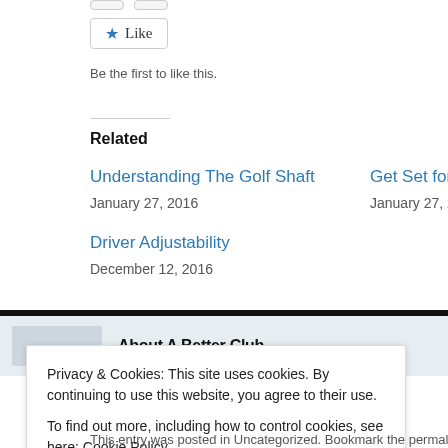[Figure (other): Partial view of two buttons cut off at top of page]
Like
Be the first to like this.
Related
Understanding The Golf Shaft
January 27, 2016
Get Set for the W
January 27, 201
Driver Adjustability
December 12, 2016
About A Better Club
Privacy & Cookies: This site uses cookies. By continuing to use this website, you agree to their use.
To find out more, including how to control cookies, see here: Cookie Policy
Close and accept
This entry was posted in Uncategorized. Bookmark the permalink.